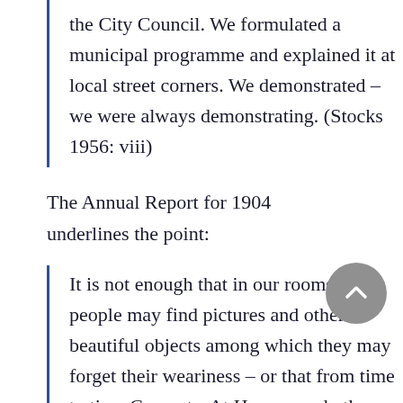the City Council. We formulated a municipal programme and explained it at local street corners. We demonstrated – we were always demonstrating. (Stocks  1956: viii)
The Annual Report for 1904 underlines the point:
It is not enough that in our rooms tired people may find pictures and other beautiful objects among which they may forget their weariness – or that from time to time Concerts, At Homes, and other gatherings bring the